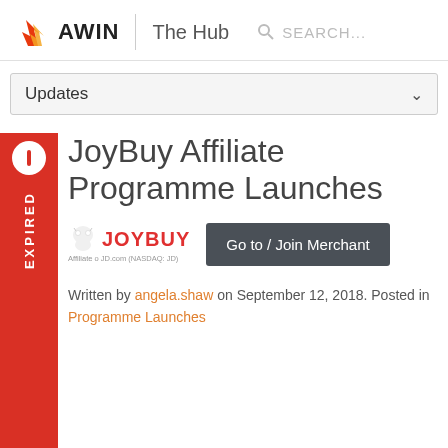[Figure (logo): Awin flame logo with AWIN text and The Hub heading, plus search bar]
Updates ∨
JoyBuy Affiliate Programme Launches
[Figure (logo): JoyBuy logo - affiliate of JD.com (NASDAQ: JD) with robot mascot, and Go to / Join Merchant button]
Written by angela.shaw on September 12, 2018. Posted in Programme Launches